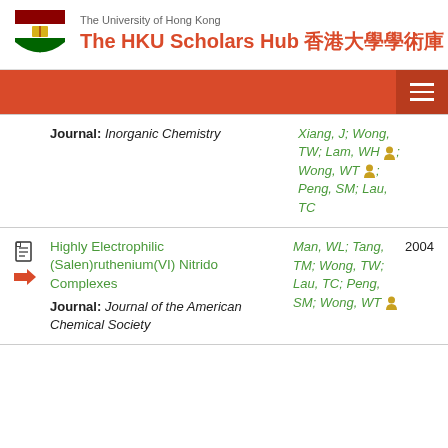The University of Hong Kong — The HKU Scholars Hub 香港大學學術庫
Journal: Inorganic Chemistry — Authors: Xiang, J; Wong, TW; Lam, WH; Wong, WT; Peng, SM; Lau, TC
Highly Electrophilic (Salen)ruthenium(VI) Nitrido Complexes — Journal: Journal of the American Chemical Society — Authors: Man, WL; Tang, TM; Wong, TW; Lau, TC; Peng, SM; Wong, WT — Year: 2004